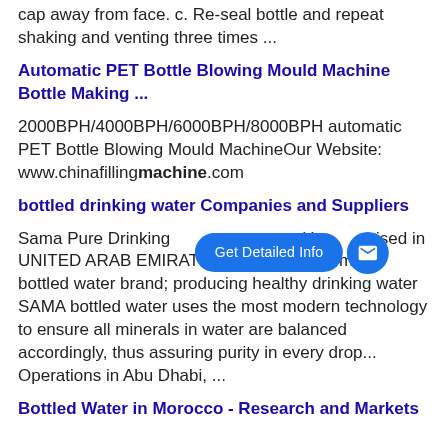cap away from face. c. Re-seal bottle and repeat shaking and venting three times ...
Automatic PET Bottle Blowing Mould Machine Bottle Making ...
2000BPH/4000BPH/6000BPH/8000BPH automatic PET Bottle Blowing Mould MachineOur Website: www.chinafillingmachine.com
bottled drinking water Companies and Suppliers
Sama Pure Drinking ... U... ised in UNITED ARAB EMIRATES. SAMA is a premium bottled water brand; producing healthy drinking water SAMA bottled water uses the most modern technology to ensure all minerals in water are balanced accordingly, thus assuring purity in every drop... Operations in Abu Dhabi, ...
Bottled Water in Morocco - Research and Markets